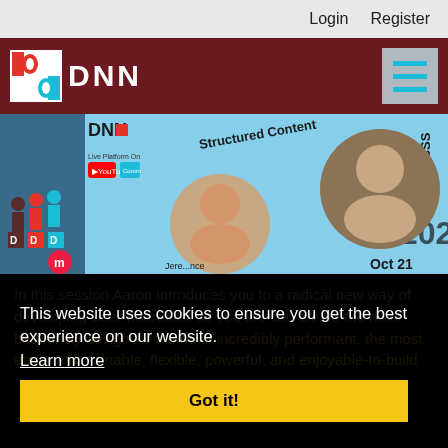Login   Register
[Figure (logo): DNN logo with red and blue D icon and white DNN text on dark red header bar, with hamburger menu icon on right]
[Figure (photo): DNN event banner showing two speakers (Jeremy Farce and another person), with text 'Structured Content', 'Tailwind CSS', 'Oct 21', YouTube and DNN Community logos, year 2022]
This website uses cookies to ensure you get the best experience on our website.
Learn more
Got it!
In this session Aaron introduces you to a radical new way of developing User Interfaces so you too can create the most beautifully designed, the most incredibly performant, the most easily maintainable, flexible, powerful, and enjoyable-to-build ... using Tailwind CSS...